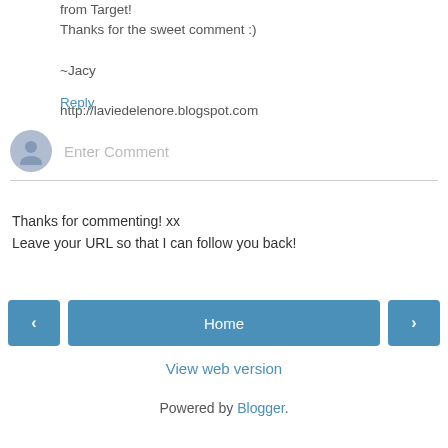from Target!
Thanks for the sweet comment :)

~Jacy

http://laviedelenore.blogspot.com
Reply
[Figure (other): Comment input field with user avatar icon and placeholder text 'Enter Comment']
Thanks for commenting! xx
Leave your URL so that I can follow you back!
[Figure (other): Navigation buttons: left arrow, Home, right arrow]
View web version
Powered by Blogger.